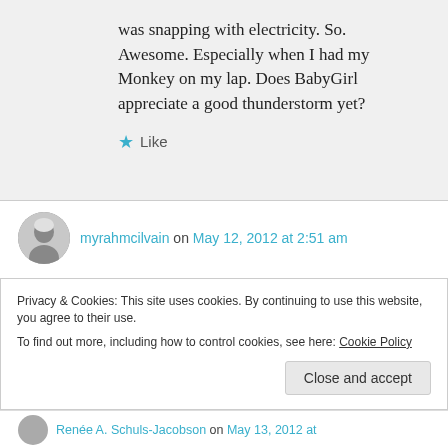was snapping with electricity. So. Awesome. Especially when I had my Monkey on my lap. Does BabyGirl appreciate a good thunderstorm yet?
Like
myrahmcilvain on May 12, 2012 at 2:51 am
Thanks, David, for sharing this delightful blog. It's wonderful hearing of a mother who taught
Privacy & Cookies: This site uses cookies. By continuing to use this website, you agree to their use.
To find out more, including how to control cookies, see here: Cookie Policy
Close and accept
Renée A. Schuls-Jacobson on May 13, 2012 at